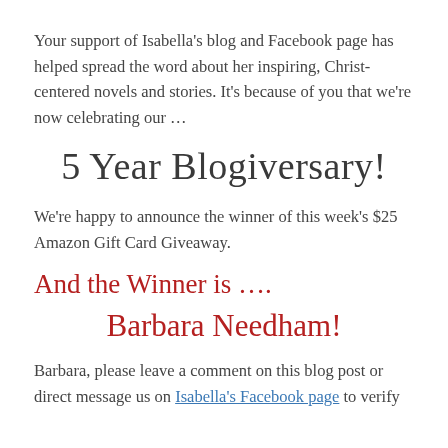Your support of Isabella's blog and Facebook page has helped spread the word about her inspiring, Christ-centered novels and stories. It's because of you that we're now celebrating our …
5 Year Blogiversary!
We're happy to announce the winner of this week's $25 Amazon Gift Card Giveaway.
And the Winner is ….
Barbara Needham!
Barbara, please leave a comment on this blog post or direct message us on Isabella's Facebook page to verify